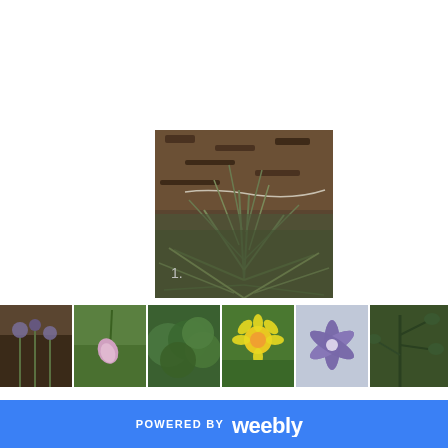[Figure (photo): Main large photo of a garden plant with narrow green leaves growing from soil/mulch, with a number '1.' overlay in lower left]
[Figure (photo): Thumbnail 1: Garden bed with purple/blue flowers and soil]
[Figure (photo): Thumbnail 2: Close-up of a drooping pink/white flower bud]
[Figure (photo): Thumbnail 3: Dense green shrub or herb foliage]
[Figure (photo): Thumbnail 4: Yellow flower (daffodil-like) against green leaves]
[Figure (photo): Thumbnail 5: Purple star-shaped flower close-up]
[Figure (photo): Thumbnail 6: Partial view of dark green plant]
0 COMMENTS
SHARE
POWERED BY weebly